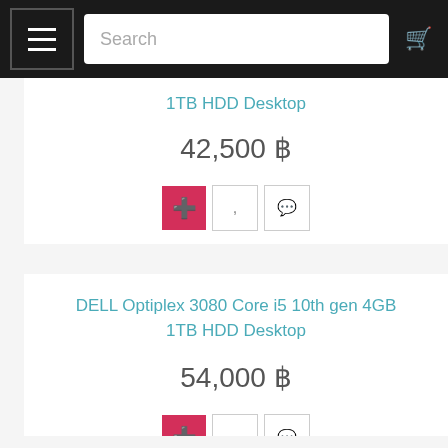Search
1TB HDD Desktop
42,500 ฿
DELL Optiplex 3080 Core i5 10th gen 4GB 1TB HDD Desktop
54,000 ฿
DELL OptiPlex 7080 Core I7 10th gen 8GB 1TB HDD Desktop
77,000 ฿